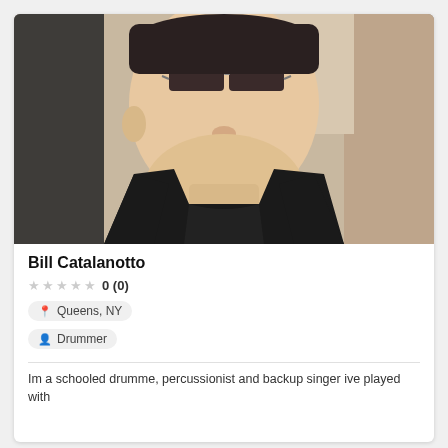[Figure (photo): Close-up portrait photo of a heavyset man wearing dark sunglasses and a black jacket over a black shirt, looking slightly downward, with a blurred light background on the right side.]
Bill Catalanotto
0 (0)
Queens, NY
Drummer
Im a schooled drumme, percussionist and backup singer ive played with